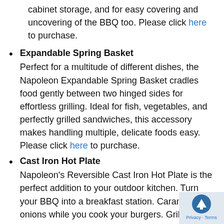cabinet storage, and for easy covering and uncovering of the BBQ too. Please click here to purchase.
Expandable Spring Basket
Perfect for a multitude of different dishes, the Napoleon Expandable Spring Basket cradles food gently between two hinged sides for effortless grilling. Ideal for fish, vegetables, and perfectly grilled sandwiches, this accessory makes handling multiple, delicate foods easy. Please click here to purchase.
Cast Iron Hot Plate
Napoleon's Reversible Cast Iron Hot Plate is the perfect addition to your outdoor kitchen. Turn your BBQ into a breakfast station. Caramelise onions while you cook your burgers. Grill your favourite sandwiches, panini style, on the reverse side of the griddle. The possibilities are endless for the Reversible Cast Iron Hot Plate. Season it like you would your grandmother's cast iron frying pan. the black cast iron with porcelain coating gets better every time you use it. The convenient little holes in top allow grease to drain away from your food for the